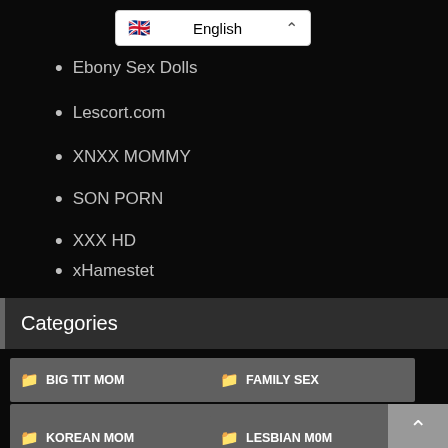English (language dropdown)
Ebony Sex Dolls
Lescort.com
XNXX MOMMY
SON PORN
XXX HD
xHamestet
X VIDEO USA
BEST SEX DOLLS
Categories
BIG TIT MOM
FAMILY SEX
HOT MOM SEX VIDEO
JAPANESE MO...
KOREAN MOM
LESBIAN M0M